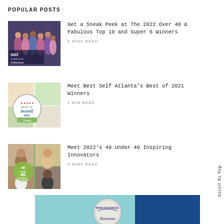POPULAR POSTS
[Figure (photo): Group photo of women in formal dresses with text '2022 Over 40 & Fabulous']
Get a Sneak Peek at The 2022 Over 40 & Fabulous Top 10 and Super 6 Winners
6 MINS READ
[Figure (photo): Best Self Atlanta Best of 2021 voting badge with food/lifestyle images]
Meet Best Self Atlanta's Best of 2021 Winners
1 MIN READ
[Figure (photo): 40 Under 40 Inspiring Innovators collage with people and green badge]
Meet 2022's 40 Under 40 Inspiring Innovators
3 MINS READ
Scroll To Top
[Figure (photo): Advertisement banner with 'PREFERRED' badge and 'Harmona' text on teal/blue background]